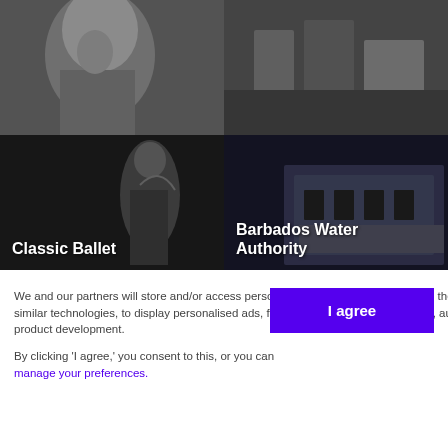[Figure (photo): Black and white close-up of an elderly man's face in profile]
[Figure (photo): Black and white photo of workers with wooden crates or logs]
[Figure (photo): Black and white photo of a ballet dancer, labeled Classic Ballet]
[Figure (photo): Black and white photo of a building, labeled Barbados Water Authority]
We and our partners will store and/or access personal data on your device through the use of cookies and similar technologies, to display personalised ads, for ad and content measurement, audience insights and product development.
By clicking 'I agree,' you consent to this, or you can manage your preferences.